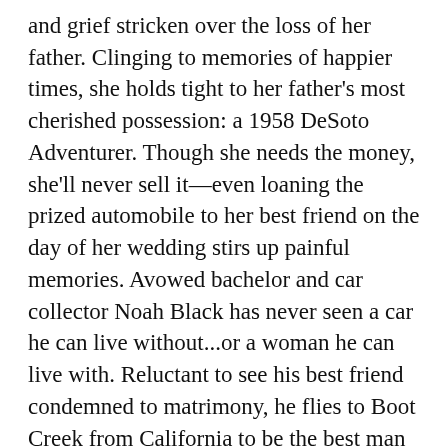and grief stricken over the loss of her father. Clinging to memories of happier times, she holds tight to her father's most cherished possession: a 1958 DeSoto Adventurer. Though she needs the money, she'll never sell it—even loaning the prized automobile to her best friend on the day of her wedding stirs up painful memories. Avowed bachelor and car collector Noah Black has never seen a car he can live without...or a woman he can live with. Reluctant to see his best friend condemned to matrimony, he flies to Boot Creek from California to be the best man in the wedding. But after discovering that the gorgeous maid of honor owns the car of his dreams, Noah makes a pricey bet that he'll add the DeSoto to his collection, no matter what it takes. Despite their determination to stay single, Noah and Megan soon find they can't resist each other. His